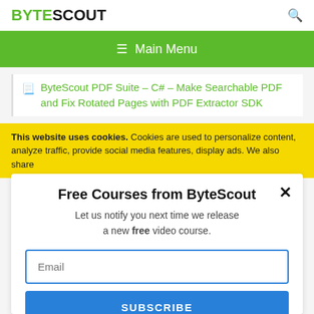BYTESCOUT
≡  Main Menu
ByteScout PDF Suite – C# – Make Searchable PDF and Fix Rotated Pages with PDF Extractor SDK
This website uses cookies. Cookies are used to personalize content, analyze traffic, provide social media features, display ads. We also share
Free Courses from ByteScout
Let us notify you next time we release a new free video course.
Email
SUBSCRIBE